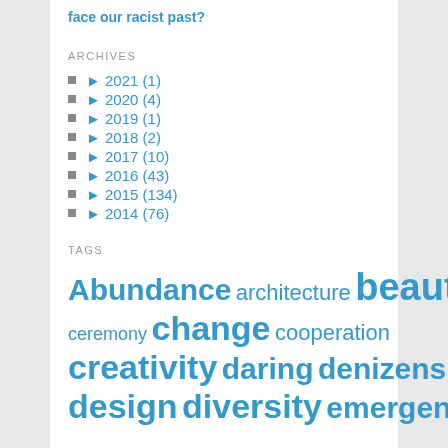face our racist past?
ARCHIVES
► 2021 (1)
► 2020 (4)
► 2019 (1)
► 2018 (2)
► 2017 (10)
► 2016 (43)
► 2015 (134)
► 2014 (76)
TAGS
Abundance architecture beauty ceremony change cooperation creativity daring denizens design diversity emergence fables